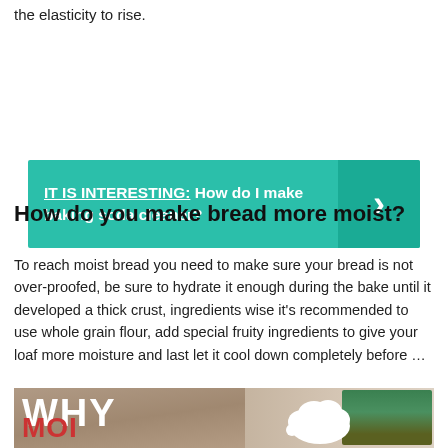the elasticity to rise.
[Figure (infographic): Teal/green banner with text 'IT IS INTERESTING: How do I make baking soda cleaner?' and a right-pointing chevron arrow on the right side in a darker teal block.]
How do you make bread more moist?
To reach moist bread you need to make sure your bread is not over-proofed, be sure to hydrate it enough during the bake until it developed a thick crust, ingredients wise it's recommended to use whole grain flour, add special fruity ingredients to give your loaf more moisture and last let it cool down completely before …
[Figure (photo): Thumbnail image showing a woman in a kitchen with overlaid bold white text 'WHY' and red text partially visible at bottom, plus a white cloud thought-bubble shape in the upper right area.]